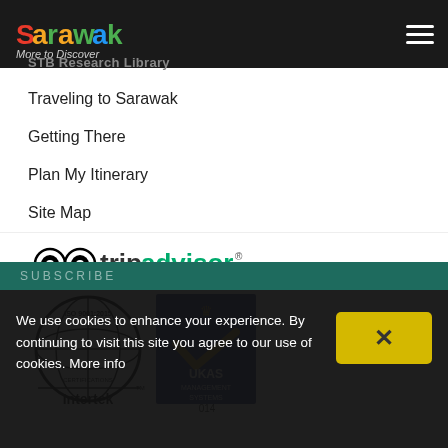Sarawak - More to Discover
STB Research Library
Traveling to Sarawak
Getting There
Plan My Itinerary
Site Map
[Figure (logo): TripAdvisor Malaysia logo]
[Figure (logo): Intertertek ISO 9001:2015 Certifications and UKAS Management Systems 014 certification logos]
We use cookies to enhance your experience. By continuing to visit this site you agree to our use of cookies. More info